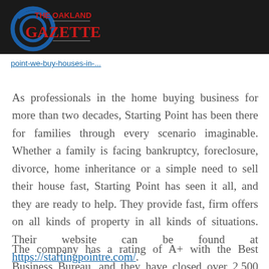[Figure (logo): The Oakland Gazette logo with circular icon on dark background]
point-we-buy-houses-in-...
As professionals in the home buying business for more than two decades, Starting Point has been there for families through every scenario imaginable. Whether a family is facing bankruptcy, foreclosure, divorce, home inheritance or a simple need to sell their house fast, Starting Point has seen it all, and they are ready to help. They provide fast, firm offers on all kinds of property in all kinds of situations. Their website can be found at https://startingpointre.com/.
The company has a rating of A+ with the Best Business Bureau, and they have closed over 2,500 transactions